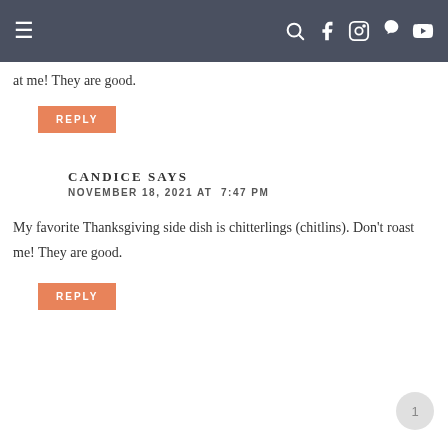Navigation bar with menu and social icons
at me! They are good.
REPLY
CANDICE SAYS
NOVEMBER 18, 2021 AT  7:47 PM
My favorite Thanksgiving side dish is chitterlings (chitlins). Don't roast me! They are good.
REPLY